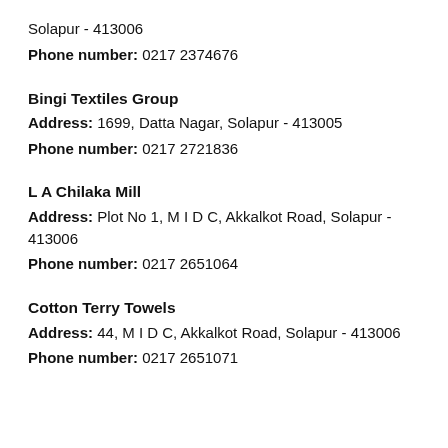Solapur - 413006
Phone number: 0217 2374676
Bingi Textiles Group
Address: 1699, Datta Nagar, Solapur - 413005
Phone number: 0217 2721836
L A Chilaka Mill
Address: Plot No 1, M I D C, Akkalkot Road, Solapur - 413006
Phone number: 0217 2651064
Cotton Terry Towels
Address: 44, M I D C, Akkalkot Road, Solapur - 413006
Phone number: 0217 2651071